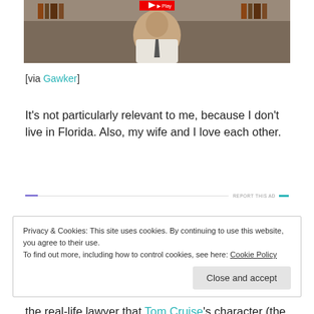[Figure (photo): Video thumbnail showing a person in a white shirt and tie seated in front of bookshelves, with a red play button overlay at top]
[via Gawker]
It’s not particularly relevant to me, because I don’t live in Florida. Also, my wife and I love each other.
Privacy & Cookies: This site uses cookies. By continuing to use this website, you agree to their use.
To find out more, including how to control cookies, see here: Cookie Policy
the real-life lawyer that Tom Cruise’s character (the one